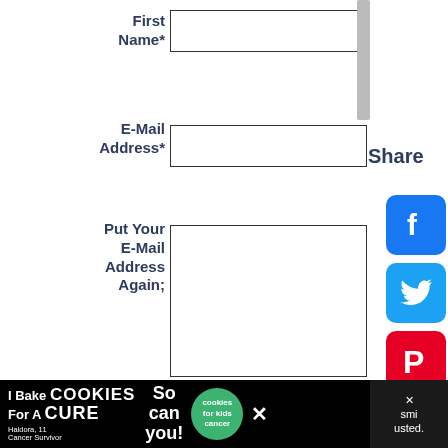First Name*
E-Mail Address*
Put Your E-Mail Address Again;
Join the Newsletter gr
GDPR*
I am at least 16 years of a
I have read and accept the privacy policy.
I understand that you will
Share
[Figure (screenshot): Social share buttons: Facebook, Twitter, Pinterest, Tumblr, Reddit/heart, share count]
[Figure (photo): Cookie banner advertisement: I Bake COOKIES For A CURE - Haldora, 11 Cancer Survivor - So can you! - cookies for kids cancer]